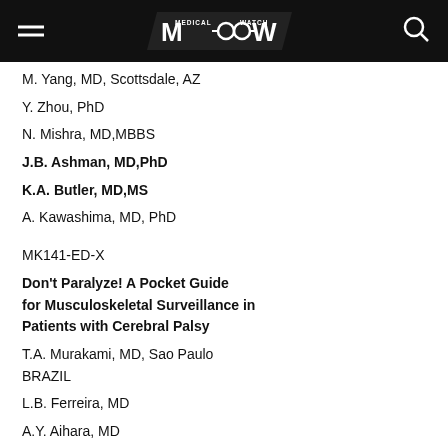MEDICAL WATCH
M. Yang, MD, Scottsdale, AZ
Y. Zhou, PhD
N. Mishra, MD,MBBS
J.B. Ashman, MD,PhD
K.A. Butler, MD,MS
A. Kawashima, MD, PhD
MK141-ED-X
Don't Paralyze! A Pocket Guide for Musculoskeletal Surveillance in Patients with Cerebral Palsy
T.A. Murakami, MD, Sao Paulo BRAZIL
L.B. Ferreira, MD
A.Y. Aihara, MD
A. Rosenfeld, MD